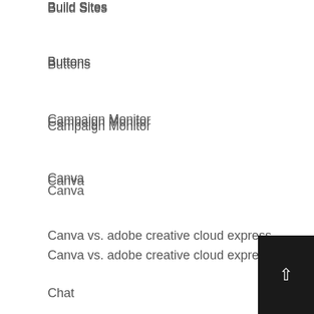Build Sites
Buttons
Campaign Monitor
Canva
Canva vs. adobe creative cloud express
Chat
Checklist
Checkout
click to tweet
Comments
Comparison
Constant Contact